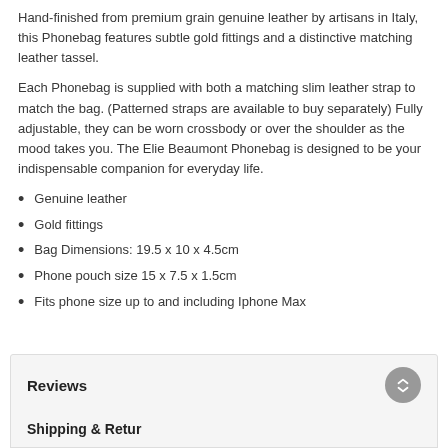Hand-finished from premium grain genuine leather by artisans in Italy, this Phonebag features subtle gold fittings and a distinctive matching leather tassel.
Each Phonebag is supplied with both a matching slim leather strap to match the bag. (Patterned straps are available to buy separately) Fully adjustable, they can be worn crossbody or over the shoulder as the mood takes you. The Elie Beaumont Phonebag is designed to be your indispensable companion for everyday life.
Genuine leather
Gold fittings
Bag Dimensions: 19.5 x 10 x 4.5cm
Phone pouch size 15 x 7.5 x 1.5cm
Fits phone size up to and including Iphone Max
Reviews
Shipping & Returns